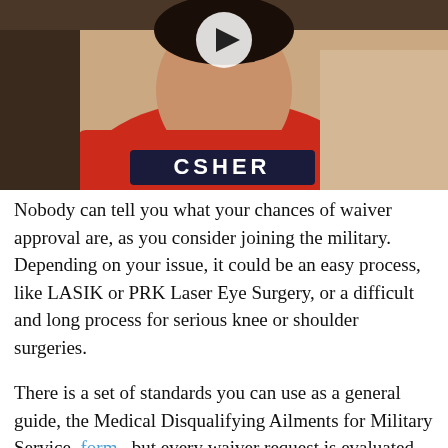[Figure (photo): Video thumbnail showing a person in a red hoodie with text 'CSHER' on it, with a white play button overlay at the top center]
Nobody can tell you what your chances of waiver approval are, as you consider joining the military. Depending on your issue, it could be an easy process, like LASIK or PRK Laser Eye Surgery, or a difficult and long process for serious knee or shoulder surgeries.
There is a set of standards you can use as a general guide, the Medical Disqualifying Ailments for Military Service form , but every waiver request is evaluated using several individual factors. No two waivers are alike.